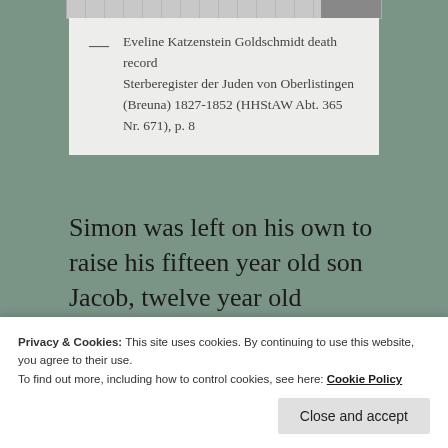[Figure (photo): Top portion of a document image strip, partially visible at the top of the page.]
— Eveline Katzenstein Goldschmidt death record Sterberegister der Juden von Oberlistingen (Breuna) 1827-1852 (HHStAW Abt. 365 Nr. 671), p. 8
Simon was left on his own to raise his fifteen year old son Jacob, twelve year old daughter Lena, and
Privacy & Cookies: This site uses cookies. By continuing to use this website, you agree to their use.
To find out more, including how to control cookies, see here: Cookie Policy
Close and accept
Fradchen Schoenthal on